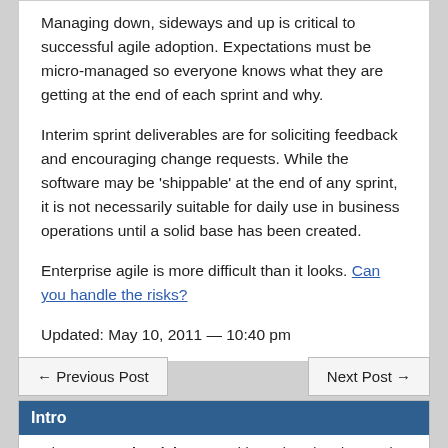Managing down, sideways and up is critical to successful agile adoption. Expectations must be micro-managed so everyone knows what they are getting at the end of each sprint and why.
Interim sprint deliverables are for soliciting feedback and encouraging change requests. While the software may be ‘shippable’ at the end of any sprint, it is not necessarily suitable for daily use in business operations until a solid base has been created.
Enterprise agile is more difficult than it looks. Can you handle the risks?
Updated: May 10, 2011 — 10:40 pm
← Previous Post
Next Post →
Intro
Welcome to BrainsLink.com - a blog written by Vin D’Amico about